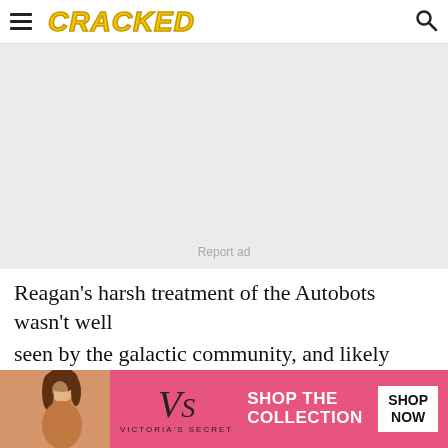CRACKED
[Figure (other): Gray advertisement placeholder box with 'Report ad' text centered at the bottom]
Reagan's harsh treatment of the Autobots wasn't well
seen by the galactic community, and likely precipitated
[Figure (other): Victoria's Secret advertisement banner with model photo on the left, VS logo in center, 'SHOP THE COLLECTION' text, and 'SHOP NOW' button on pink background]